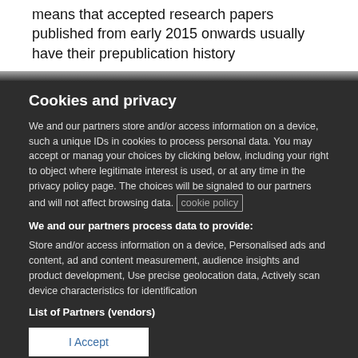means that accepted research papers published from early 2015 onwards usually have their prepublication history posted alongside them on bmj.com
Cookies and privacy
We and our partners store and/or access information on a device, such as unique IDs in cookies to process personal data. You may accept or manage your choices by clicking below, including your right to object where legitimate interest is used, or at any time in the privacy policy page. These choices will be signaled to our partners and will not affect browsing data. Cookie policy
We and our partners process data to provide:
Store and/or access information on a device, Personalised ads and content, ad and content measurement, audience insights and product development, Use precise geolocation data, Actively scan device characteristics for identification
List of Partners (vendors)